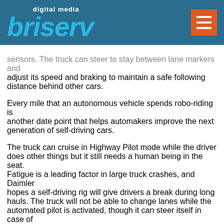digital media briserv
sensors. The truck can steer to stay between lane markers and adjust its speed and braking to maintain a safe following distance behind other cars.
Every mile that an autonomous vehicle spends robo-riding is another date point that helps automakers improve the next generation of self-driving cars.
The truck can cruise in Highway Pilot mode while the driver does other things but it still needs a human being in the seat. Fatigue is a leading factor in large truck crashes, and Daimler hopes a self-driving rig will give drivers a break during long hauls. The truck will not be able to change lanes while the automated pilot is activated, though it can steer itself in case of a bend in the road. The driver must negotiate surface roads, exits and interchanges and everything else that's not hightway cruising. The driver must step in when conditions (like snow) prevents autonomous driving. The driver retains full control over the vehicle at all times. Freightline compares Higway Pilot to the autopilot system used on commercial airplanes. It hasn't replace the need for a pilot.
The Freightliner Inspiration still needs a lot more testing, as well as new technology to improve radar sensors and cameras, according to Daimler, which also owns Mercedes-Benz. And like all self-driving vehicles, it faces both legal and ethical complications.